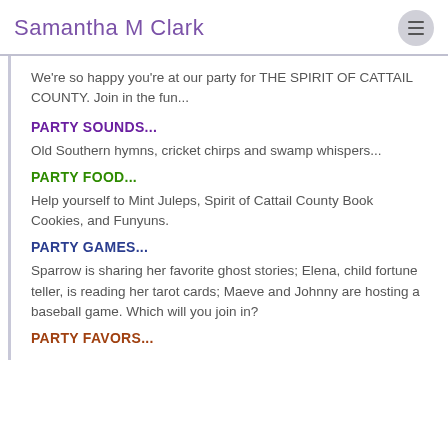Samantha M Clark
We're so happy you're at our party for THE SPIRIT OF CATTAIL COUNTY. Join in the fun...
PARTY SOUNDS...
Old Southern hymns, cricket chirps and swamp whispers...
PARTY FOOD...
Help yourself to Mint Juleps, Spirit of Cattail County Book Cookies, and Funyuns.
PARTY GAMES...
Sparrow is sharing her favorite ghost stories; Elena, child fortune teller, is reading her tarot cards; Maeve and Johnny are hosting a baseball game. Which will you join in?
PARTY FAVORS...